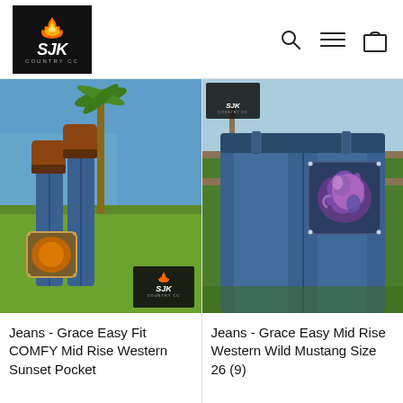SJK Country CC - navigation header with logo, search, menu, and cart icons
[Figure (photo): Woman lying on grass wearing cowboy boots and jeans with decorative sunset pocket design, ocean and palm tree in background. SJK Country CC logo watermark in bottom right.]
Jeans - Grace Easy Fit COMFY Mid Rise Western Sunset Pocket
[Figure (photo): Close-up rear view of woman wearing blue jeans with decorative Western Wild Mustang pocket design (colorful horse graphic), fence in background.]
Jeans - Grace Easy Mid Rise Western Wild Mustang Size 26 (9)